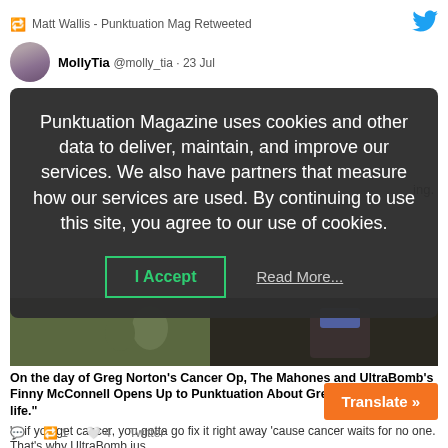Matt Wallis - Punktuation Mag Retweeted
MollyTia @molly_tia · 23 Jul
[Figure (screenshot): Cookie consent overlay on Punktuation Magazine website showing a dark semi-transparent modal with text: Punktuation Magazine uses cookies and other data to deliver, maintain, and improve our services. We also have partners that measure how our services are used. By continuing to use this site, you agree to our use of cookies. With I Accept and Read More... buttons.]
Punktuation Magazine uses cookies and other data to deliver, maintain, and improve our services. We also have partners that measure how our services are used. By continuing to use this site, you agree to our use of cookies.
I Accept
Read More...
On the day of Greg Norton's Cancer Op, The Mahones and UltraBomb's Finny McConnell Opens Up to Punktuation About Greg's "battle of his life."
'…if you get cancer, you gotta go fix it right away 'cause cancer waits for no one. That's why UltraBomb jus…
www.punktuationmag.com
Translate »